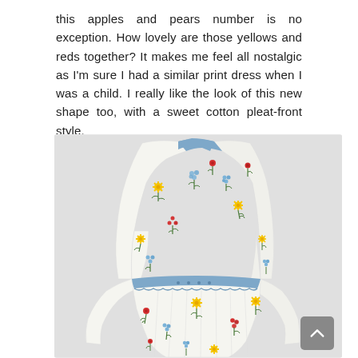this apples and pears number is no exception. How lovely are those yellows and reds together? It makes me feel all nostalgic as I'm sure I had a similar print dress when I was a child. I really like the look of this new shape too, with a sweet cotton pleat-front style.
[Figure (photo): A white cotton dress with small floral print (yellow, red, blue, green flowers on white background) featuring a blue lace waistband/belt detail and long sleeves, displayed without a mannequin on a light grey background.]